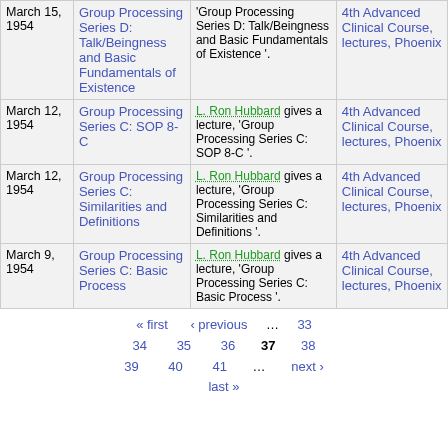| Date | Title | Description | Course |
| --- | --- | --- | --- |
| March 15, 1954 | Group Processing Series D: Talk/Beingness and Basic Fundamentals of Existence | L. Ron Hubbard gives a lecture, 'Group Processing Series D: Talk/Beingness and Basic Fundamentals of Existence '. | 4th Advanced Clinical Course, lectures, Phoenix |
| March 12, 1954 | Group Processing Series C: SOP 8-C | L. Ron Hubbard gives a lecture, 'Group Processing Series C: SOP 8-C '. | 4th Advanced Clinical Course, lectures, Phoenix |
| March 12, 1954 | Group Processing Series C: Similarities and Definitions | L. Ron Hubbard gives a lecture, 'Group Processing Series C: Similarities and Definitions '. | 4th Advanced Clinical Course, lectures, Phoenix |
| March 9, 1954 | Group Processing Series C: Basic Process | L. Ron Hubbard gives a lecture, 'Group Processing Series C: Basic Process '. | 4th Advanced Clinical Course, lectures, Phoenix |
« first  ‹ previous  …  33  34  35  36  37  38  39  40  41  …  next ›  last »